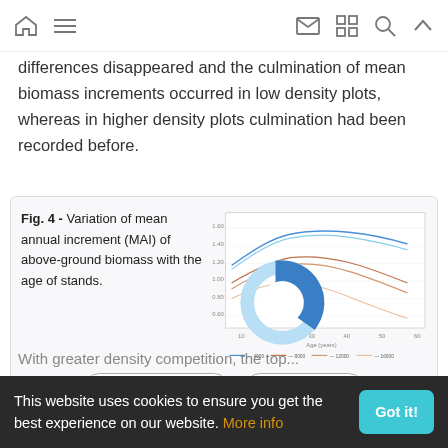navigation bar with home, menu, mail, grid, search, and up icons
differences disappeared and the culmination of mean biomass increments occurred in low density plots, whereas in higher density plots culmination had been recorded before.
[Figure (continuous-plot): Line chart showing variation of mean annual increment (MAI) of above-ground biomass with the age of stands. Multiple curves at different density levels with a donut/ring chart overlay partially covering the graph.]
Fig. 4 - Variation of mean annual increment (MAI) of above-ground biomass with the age of stands.
With greater density competition, the top...
This website uses cookies to ensure you get the best experience on our website. More info